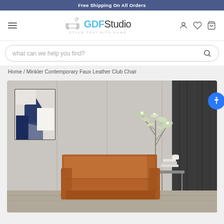Free Shipping On All Orders
[Figure (logo): GDF Studio logo with sofa icon and tagline 'Style That Hits Home']
what can we help you find?
Home / Minkler Contemporary Faux Leather Club Chair
[Figure (photo): Brown faux leather club chair in a modern living room setting with abstract wall art, plant, and side table]